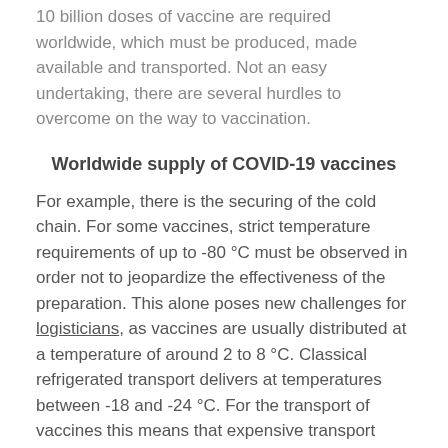10 billion doses of vaccine are required worldwide, which must be produced, made available and transported. Not an easy undertaking, there are several hurdles to overcome on the way to vaccination.
Worldwide supply of COVID-19 vaccines
For example, there is the securing of the cold chain. For some vaccines, strict temperature requirements of up to -80 °C must be observed in order not to jeopardize the effectiveness of the preparation. This alone poses new challenges for logisticians, as vaccines are usually distributed at a temperature of around 2 to 8 °C. Classical refrigerated transport delivers at temperatures between -18 and -24 °C. For the transport of vaccines this means that expensive transport boxes must be purchased to ensure these low temperatures. For economic reasons alone, these boxes must be in